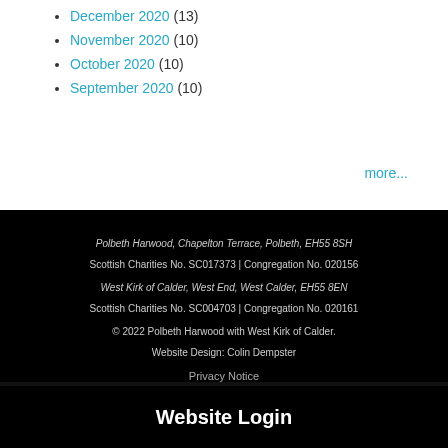December 2020 (13)
November 2020 (10)
October 2020 (10)
September 2020 (10)
more...
Polbeth Harwood, Chapelton Terrace, Polbeth, EH55 8SH
Scottish Charities No. SC017373 | Congregation No. 020156
West Kirk of Calder, West End, West Calder, EH55 8EN
Scottish Charities No. SC004703 | Congregation No. 020161
© 2022 Polbeth Harwood with West Kirk of Calder.
Website Design: Colin Dempster
Privacy Notice
Website Login